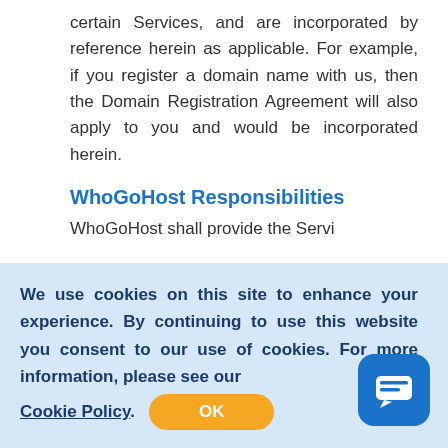certain Services, and are incorporated by reference herein as applicable. For example, if you register a domain name with us, then the Domain Registration Agreement will also apply to you and would be incorporated herein.
WhoGoHost Responsibilities
WhoGoHost shall provide the Servi...
We use cookies on this site to enhance your experience. By continuing to use this website you consent to our use of cookies. For more information, please see our Cookie Policy.